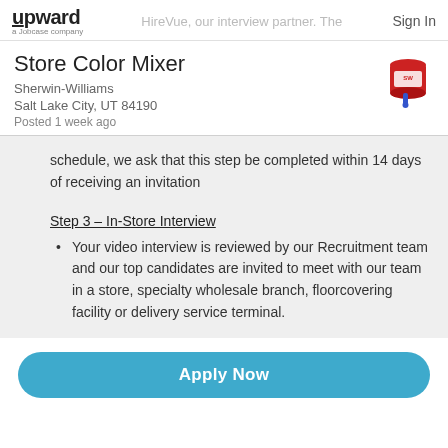upward a Jobcase company | HireVue, our interview partner. The | Sign In
Store Color Mixer
Sherwin-Williams
Salt Lake City, UT 84190
Posted 1 week ago
schedule, we ask that this step be completed within 14 days of receiving an invitation
Step 3 – In-Store Interview
Your video interview is reviewed by our Recruitment team and our top candidates are invited to meet with our team in a store, specialty wholesale branch, floorcovering facility or delivery service terminal.
Apply Now